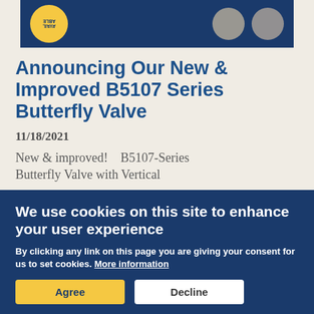[Figure (photo): Product banner with dark blue background showing a yellow circular badge with 'AVAILABLE' text and two butterfly valve product images on the right]
Announcing Our New & Improved B5107 Series Butterfly Valve
11/18/2021
New & improved!  B5107-Series Butterfly Valve with Vertical
We use cookies on this site to enhance your user experience
By clicking any link on this page you are giving your consent for us to set cookies. More information
Agree
Decline